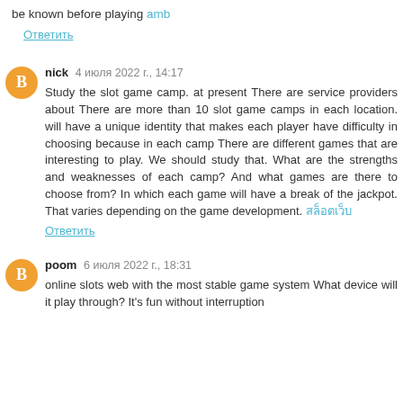be known before playing amb
Ответить
nick 4 июля 2022 г., 14:17
Study the slot game camp. at present There are service providers about There are more than 10 slot game camps in each location. will have a unique identity that makes each player have difficulty in choosing because in each camp There are different games that are interesting to play. We should study that. What are the strengths and weaknesses of each camp? And what games are there to choose from? In which each game will have a break of the jackpot. That varies depending on the game development. สล็อตเว็บ
Ответить
poom 6 июля 2022 г., 18:31
online slots web with the most stable game system What device will it play through? It's fun without interruption